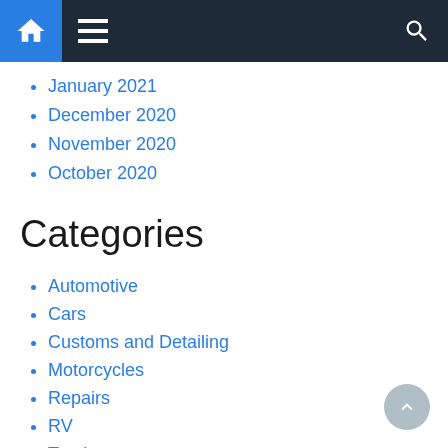Navigation bar with home, menu, and search icons
January 2021
December 2020
November 2020
October 2020
Categories
Automotive
Cars
Customs and Detailing
Motorcycles
Repairs
RV
Trucks